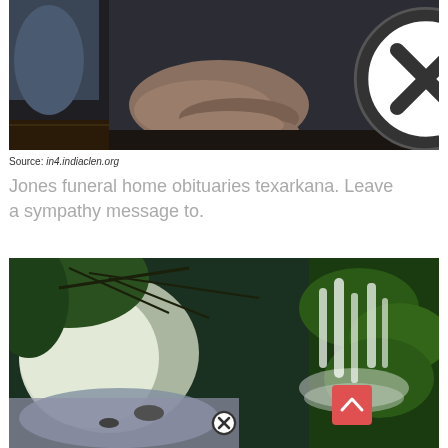[Figure (photo): Dark photo showing a person's hands resting, wearing dark clothing, with a close-up view of clasped hands on what appears to be fabric or a patterned surface.]
Source: in4.indiaclen.org
Jones funeral home obituaries texarkana. Leave a sympathy message to.
[Figure (photo): Scenic nature photo showing a lush green forest with a waterfall on the right side and a misty river or stream with bright light on the left, surrounded by moss-covered rocks and green trees.]